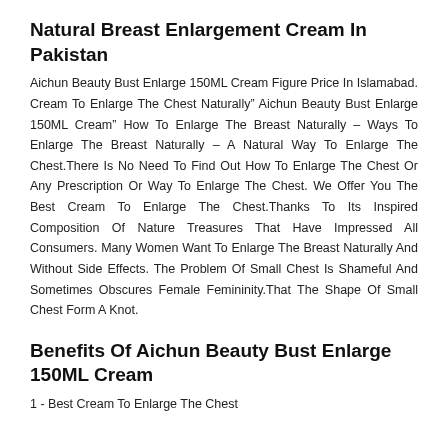Content And Origin. All Natural Products Are Not A Well-regulated Industry And. There May Be A Cream Ingredients That Are Harmful To A Health, Which Is A Real Chance.
Natural Breast Enlargement Cream In Pakistan
Aichun Beauty Bust Enlarge 150ML Cream Figure Price In Islamabad. Cream To Enlarge The Chest Naturally” Aichun Beauty Bust Enlarge 150ML Cream” How To Enlarge The Breast Naturally – Ways To Enlarge The Breast Naturally – A Natural Way To Enlarge The Chest.There Is No Need To Find Out How To Enlarge The Chest Or Any Prescription Or Way To Enlarge The Chest. We Offer You The Best Cream To Enlarge The Chest.Thanks To Its Inspired Composition Of Nature Treasures That Have Impressed All Consumers. Many Women Want To Enlarge The Breast Naturally And Without Side Effects. The Problem Of Small Chest Is Shameful And Sometimes Obscures Female Femininity.That The Shape Of Small Chest Form A Knot.
Benefits Of Aichun Beauty Bust Enlarge 150ML Cream
1 - Best Cream To Enlarge The Chest